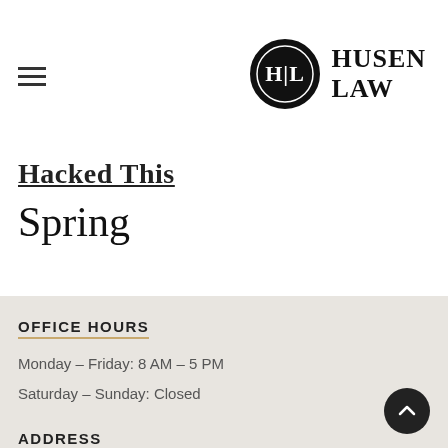[Figure (logo): Husen Law logo: black circle with HL monogram and text 'HUSEN LAW' to the right]
Hacked This Spring
OFFICE HOURS
Monday – Friday: 8 AM – 5 PM
Saturday – Sunday: Closed
ADDRESS
2200 Younger Circle, Suite 5-7 Corona, CA 92879